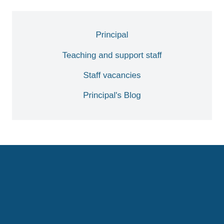Principal
Teaching and support staff
Staff vacancies
Principal's Blog